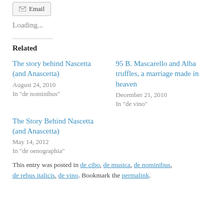Email
Loading...
Related
The story behind Nascetta (and Anascetta)
August 24, 2010
In "de nominibus"
95 B. Mascarello and Alba truffles, a marriage made in heaven
December 21, 2010
In "de vino"
The Story Behind Nascetta (and Anascetta)
May 14, 2012
In "de oenographia"
This entry was posted in de cibo, de musica, de nominibus, de rebus italicis, de vino. Bookmark the permalink.